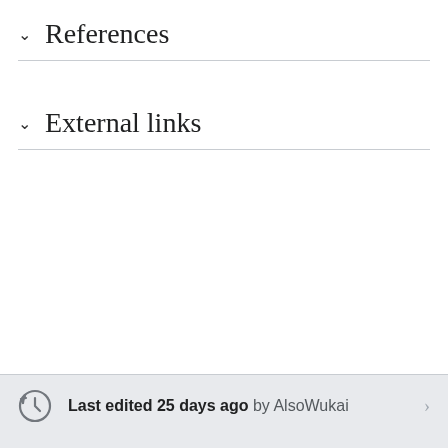∨ References
∨ External links
Last edited 25 days ago by AlsoWukai